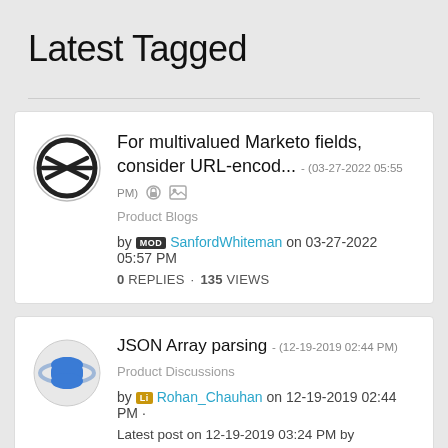Latest Tagged
For multivalued Marketo fields, consider URL-encod... - (03-27-2022 05:55 PM)
Product Blogs
by MOD SanfordWhiteman on 03-27-2022 05:57 PM
0 REPLIES · 135 VIEWS
JSON Array parsing - (12-19-2019 02:44 PM)
Product Discussions
by Li Rohan_Chauhan on 12-19-2019 02:44 PM ·
Latest post on 12-19-2019 03:24 PM by